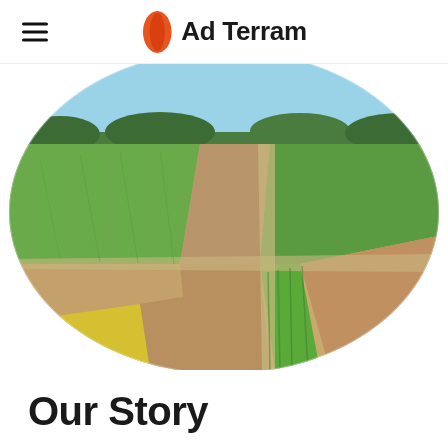Ad Terram
[Figure (photo): Aerial drone view of agricultural fields divided into rectangular plots with green crops, golden wheat, and yellow rapeseed fields, shown within an oval/circle crop shape]
Our Story